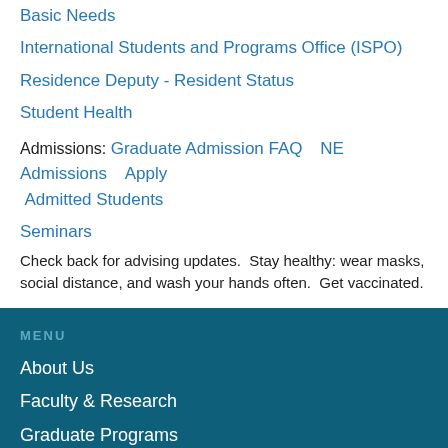Basic Needs
International Students and Programs Office (ISPO)
Residence Deputy - Resident Status
Student Health
Admissions:  Graduate Admission FAQ    NE Admissions    Apply   Admitted Students
Seminars
Check back for advising updates.  Stay healthy: wear masks, social distance, and wash your hands often.  Get vaccinated.
MENU
About Us
Faculty & Research
Graduate Programs
Undergraduate